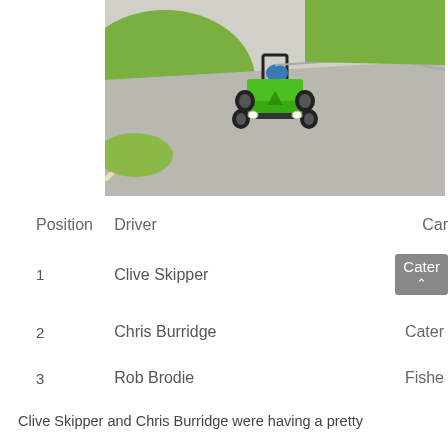[Figure (photo): Green open-wheel racing car (Caterham-style) navigating a corner on a race track, with green grass embankments on either side. Sunny day, track curves in background.]
| Position | Driver | Car |
| --- | --- | --- |
| 1 | Clive Skipper | Cater... |
| 2 | Chris Burridge | Cater... |
| 3 | Rob Brodie | Fishe... |
Clive Skipper and Chris Burridge were having a pretty